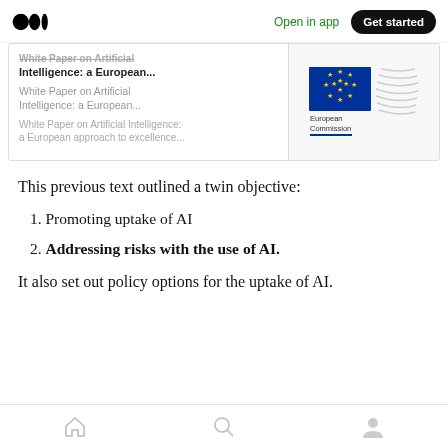Open in app | Get started
[Figure (screenshot): Card preview of 'White Paper on Artificial Intelligence: a European...' document with European Commission logo]
This previous text outlined a twin objective:
1. Promoting uptake of AI
2. Addressing risks with the use of AI.
It also set out policy options for the uptake of AI.
Home | Search | Profile